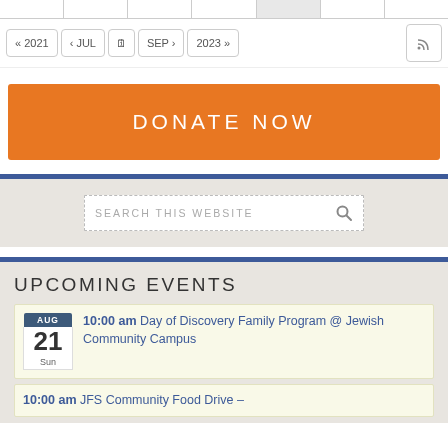Calendar navigation: « 2021  ‹ JUL  [calendar icon]  SEP ›  2023 »  [RSS]
[Figure (other): Orange DONATE NOW button banner]
[Figure (other): Search this website input box with magnifying glass icon, on grey background with blue top border]
UPCOMING EVENTS
AUG 21 Sun — 10:00 am Day of Discovery Family Program @ Jewish Community Campus
10:00 am JFS Community Food Drive –